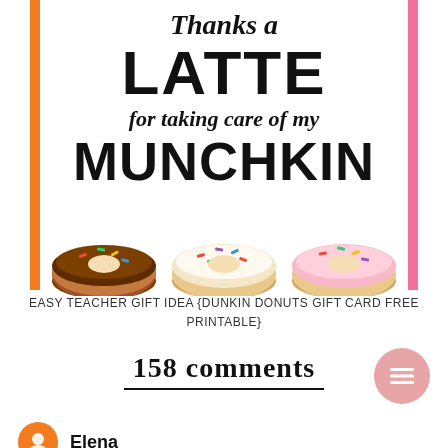[Figure (illustration): Printable gift card with text: Thanks a LATTE for taking care of my MUNCHKIN with three donut illustrations at the bottom, orange left border and pink right border]
EASY TEACHER GIFT IDEA {DUNKIN DONUTS GIFT CARD FREE PRINTABLE}
158 comments
Elena